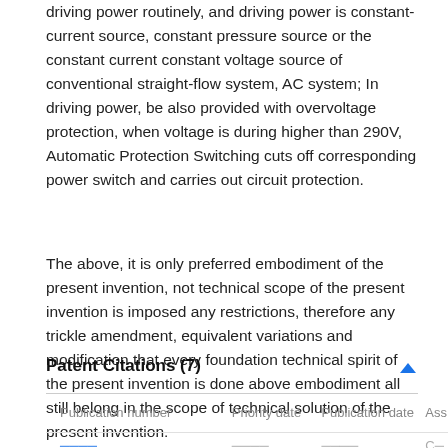driving power routinely, and driving power is constant-current source, constant pressure source or the constant current constant voltage source of conventional straight-flow system, AC system; In driving power, be also provided with overvoltage protection, when voltage is during higher than 290V, Automatic Protection Switching cuts off corresponding power switch and carries out circuit protection.
The above, it is only preferred embodiment of the present invention, not technical scope of the present invention is imposed any restrictions, therefore any trickle amendment, equivalent variations and modification that every foundation technical spirit of the present invention is done above embodiment all still belong in the scope of technical solution of the present invention.
Patent Citations (7)
| Publication number | Priority date | Publication date | Ass |
| --- | --- | --- | --- |
| [?????????]... | ????-??-?? | ????-??-?? | C?? |